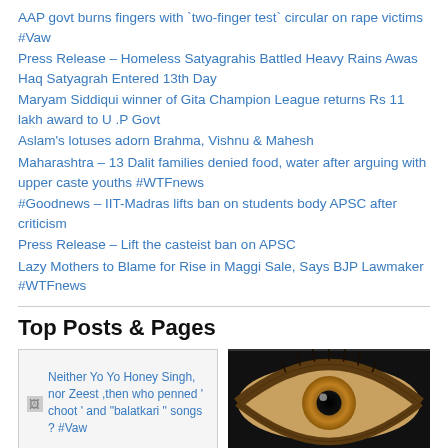AAP govt burns fingers with `two-finger test` circular on rape victims #Vaw
Press Release – Homeless Satyagrahis Battled Heavy Rains Awas Haq Satyagrah Entered 13th Day
Maryam Siddiqui winner of Gita Champion League returns Rs 11 lakh award to U .P Govt
Aslam's lotuses adorn Brahma, Vishnu & Mahesh
Maharashtra – 13 Dalit families denied food, water after arguing with upper caste youths #WTFnews
#Goodnews – IIT-Madras lifts ban on students body APSC after criticism
Press Release – Lift the casteist ban on APSC
Lazy Mothers to Blame for Rise in Maggi Sale, Says BJP Lawmaker #WTFnews
Top Posts & Pages
[Figure (screenshot): Thumbnail with broken image icon and text: Neither Yo Yo Honey Singh, nor Zeest ,then who penned ' choot ' and "balatkari " songs ? #Vaw]
[Figure (photo): Close-up photo of a human eye with dark background]